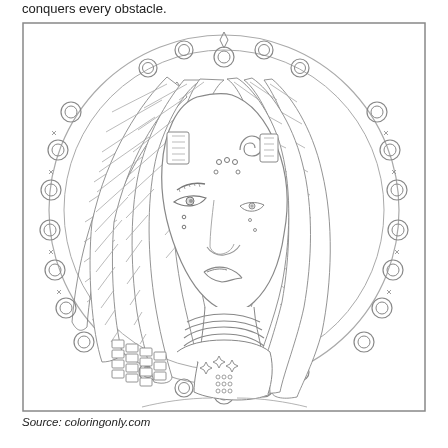conquers every obstacle.
[Figure (illustration): A detailed coloring book style line drawing of a woman with decorative braided/woven hair, Egyptian-style headdress and jewelry, facial markings/dots, and a beaded necklace. She is set against a circular mandala-like background composed of concentric rings and circles with decorative elements, all within a square border.]
Source: coloringonly.com